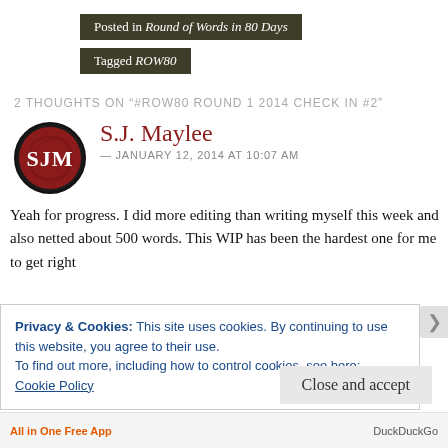Posted in Round of Words in 80 Days
Tagged ROW80
2 THOUGHTS ON "#ROW80 ROUND 1 2014 CHECK IN #2"
[Figure (logo): SJM circular avatar logo with red background and white text]
S.J. Maylee
— JANUARY 12, 2014 AT 10:07 AM
Yeah for progress. I did more editing than writing myself this week and also netted about 500 words. This WIP has been the hardest one for me to get right
Privacy & Cookies: This site uses cookies. By continuing to use this website, you agree to their use.
To find out more, including how to control cookies, see here: Cookie Policy
Close and accept